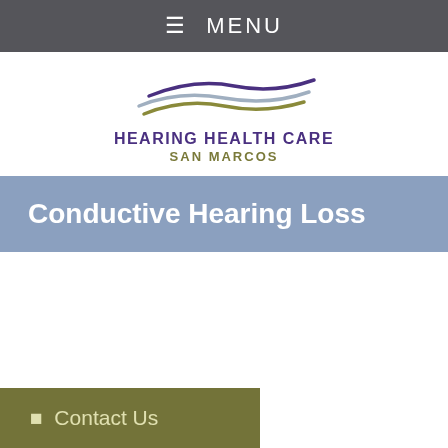☰  MENU
[Figure (logo): Hearing Health Care San Marcos logo with three wave lines in purple, light blue/gray, and olive/green colors above bold text reading HEARING HEALTH CARE SAN MARCOS]
Conductive Hearing Loss
☰ Contact Us